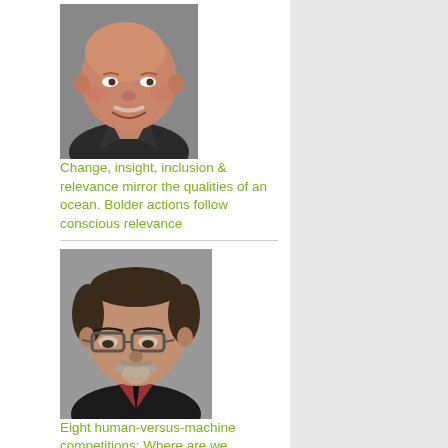[Figure (photo): Headshot of a bald older man with a grey mustache, smiling, wearing a dark shirt]
Change, insight, inclusion & relevance mirror the qualities of an ocean. Bolder actions follow conscious relevance
[Figure (photo): Headshot of a middle-aged man with glasses, dark hair with grey, a goatee, wearing a dark suit and red shirt, looking down]
Eight human-versus-machine competitions: Where are we heading?